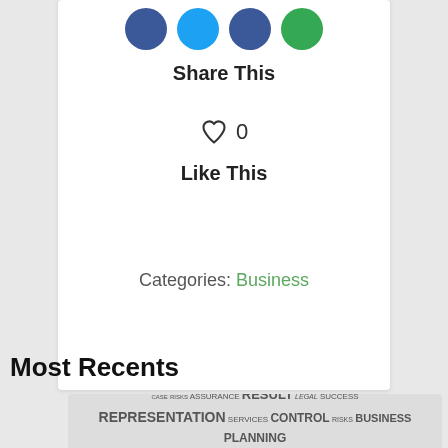Share This
♡ 0
Like This
Categories: Business
PREV
NEXT
Most Recents
[Figure (illustration): Word cloud with business/legal terms: REPRESENTATION, ASSURANCE, RESULT, LEGAL, SUCCESS, CONTROL, BUSINESS, PLANNING, RISKS, TAX, etc.]